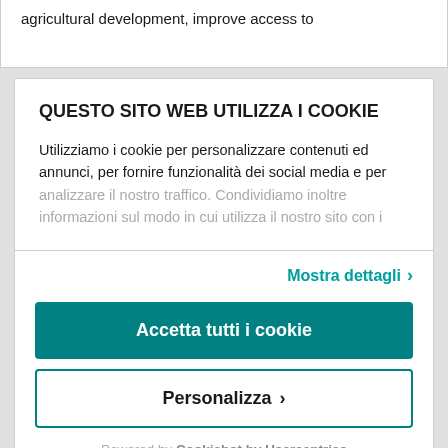agricultural development, improve access to
QUESTO SITO WEB UTILIZZA I COOKIE
Utilizziamo i cookie per personalizzare contenuti ed annunci, per fornire funzionalità dei social media e per analizzare il nostro traffico. Condividiamo inoltre informazioni sul modo in cui utilizza il nostro sito con i
Mostra dettagli >
Accetta tutti i cookie
Personalizza >
Powered by Cookiebot by Usercentrics